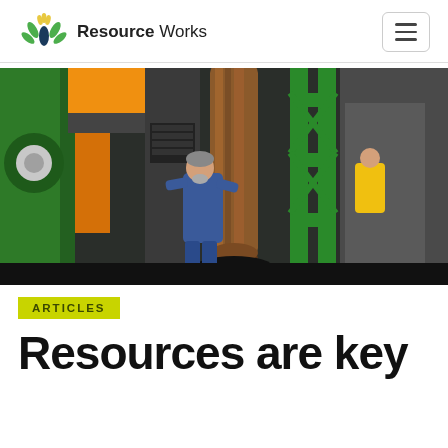Resource Works
[Figure (photo): Industrial photo of a technician in blue coveralls looking up at a large wooden log or pole clamped in heavy green and orange industrial machinery inside a warehouse facility. Green metal scaffolding frames and orange hydraulic equipment are visible.]
ARTICLES
Resources are key